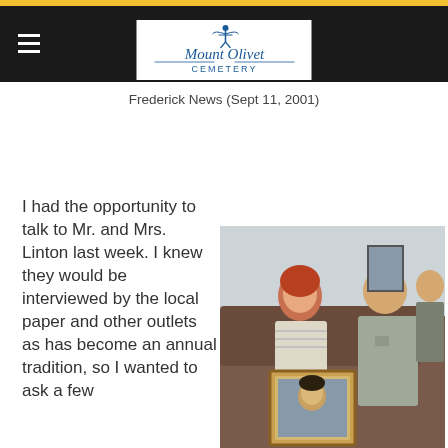Mount Olivet Cemetery
Frederick News (Sept 11, 2001)
I had the opportunity to talk to Mr. and Mrs. Linton last week. I knew they would be interviewed by the local paper and other outlets as has become an annual tradition, so I wanted to ask a few
[Figure (photo): A couple sitting on a couch. The woman has red hair and holds a framed portrait photo of a young man. The man sits beside her.]